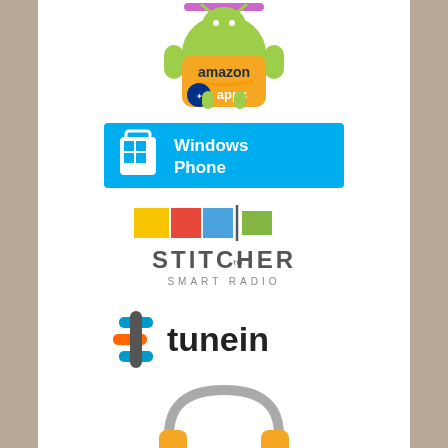[Figure (logo): Amazon Apps for Android logo - Android robot mascot holding an orange shopping bag with 'amazon apps' text]
[Figure (logo): Windows Phone store badge - blue rectangle with shopping bag icon and 'Windows Phone' text]
[Figure (logo): Stitcher Smart Radio logo - colorful horizontal bars with vertical divider and 'STITCHER SMART RADIO' text]
[Figure (logo): TuneIn logo - plus/signal icon with 'tunein' text]
[Figure (logo): Partial headphones icon at bottom - orange and gray]